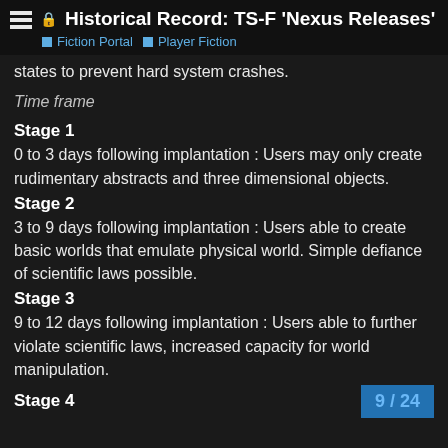Historical Record: TS-F 'Nexus Releases' — Fiction Portal | Player Fiction
states to prevent hard system crashes.
Time frame
Stage 1
0 to 3 days following implantation : Users may only create rudimentary abstracts and three dimensional objects.
Stage 2
3 to 9 days following implantation : Users able to create basic worlds that emulate physical world. Simple defiance of scientific laws possible.
Stage 3
9 to 12 days following implantation : Users able to further violate scientific laws, increased capacity for world manipulation.
Stage 4
9 / 24